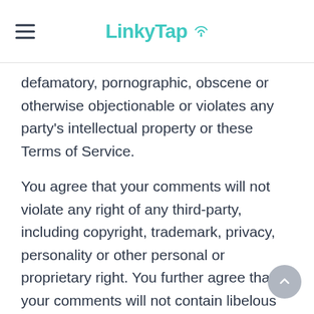LinkyTap
defamatory, pornographic, obscene or otherwise objectionable or violates any party's intellectual property or these Terms of Service.
You agree that your comments will not violate any right of any third-party, including copyright, trademark, privacy, personality or other personal or proprietary right. You further agree that your comments will not contain libelous or otherwise unlawful, abusive or obscene material, or contain any computer virus or other malware that could in any way affect the operation of